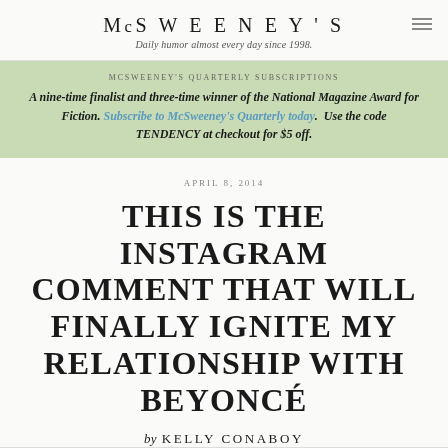McSWEENEY'S
Daily humor almost every day since 1998.
MCSWEENEY'S QUARTERLY SUBSCRIPTIONS
A nine-time finalist and three-time winner of the National Magazine Award for Fiction. Subscribe to McSweeney's Quarterly today. Use the code TENDENCY at checkout for $5 off.
APRIL 8, 2014
THIS IS THE INSTAGRAM COMMENT THAT WILL FINALLY IGNITE MY RELATIONSHIP WITH BEYONCÉ
by KELLY CONABOY